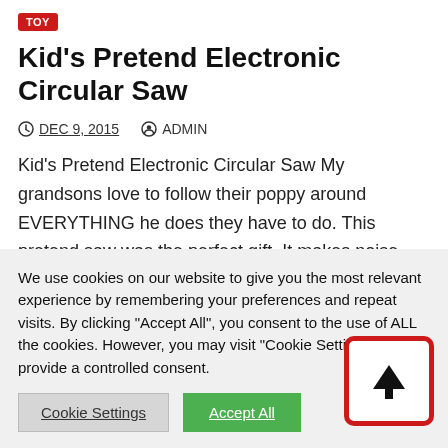TOY
Kid's Pretend Electronic Circular Saw
DEC 9, 2015   ADMIN
Kid’s Pretend Electronic Circular Saw My grandsons love to follow their poppy around EVERYTHING he does they have to do. This pretend saw was the perfect gift. It makes noise…
We use cookies on our website to give you the most relevant experience by remembering your preferences and repeat visits. By clicking “Accept All”, you consent to the use of ALL the cookies. However, you may visit “Cookie Settings” to provide a controlled consent.
Cookie Settings   Accept All
[Figure (other): Scroll-to-top button: a white square with a red border containing a bold upward arrow icon]